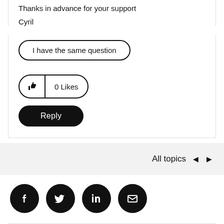Thanks in advance for your support
Cyril
[Figure (screenshot): Button labeled 'I have the same question' with rounded pill border]
[Figure (screenshot): Likes button with thumbs-up icon and '0 Likes' label, pill-shaped with divider]
[Figure (screenshot): Black Reply button, pill-shaped]
[Figure (screenshot): Navigation bar with 'All topics' text and left/right arrows]
[Figure (screenshot): Social media icons: Facebook, Twitter, LinkedIn, Email - all black circles]